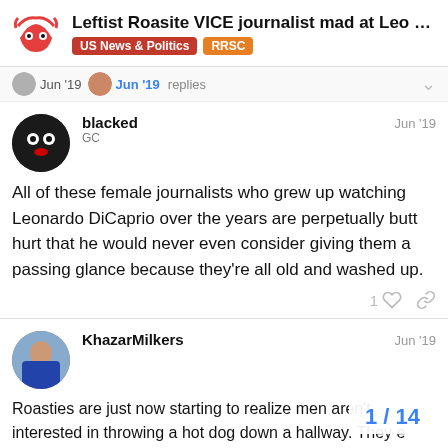Leftist Roasite VICE journalist mad at Leo Dicap... | US News & Politics | RRSC
Jun '19  Jun '19  replies
blacked  GC  Jun '19
All of these female journalists who grew up watching Leonardo DiCaprio over the years are perpetually butt hurt that he would never even consider giving them a passing glance because they're all old and washed up.
KhazarMilkers  Jun '19
Roasties are just now starting to realize men aren't interested in throwing a hot dog down a hallway. They e... to do so permanently.
1 / 14